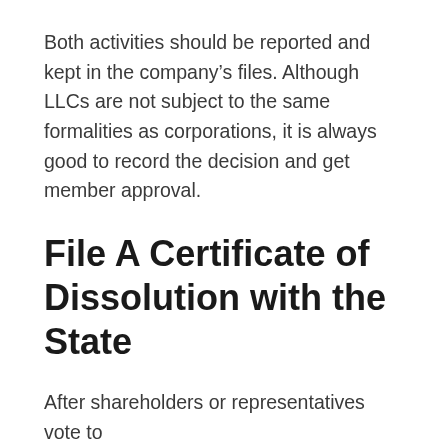Both activities should be reported and kept in the company’s files. Although LLCs are not subject to the same formalities as corporations, it is always good to record the decision and get member approval.
File A Certificate of Dissolution with the State
After shareholders or representatives vote to